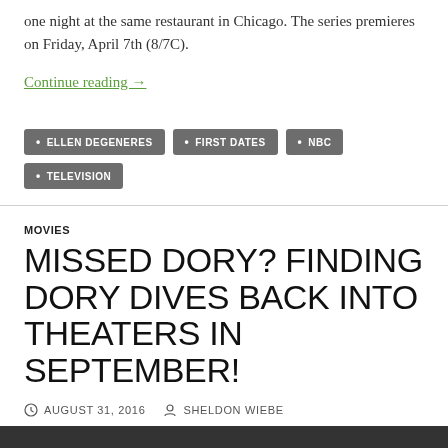one night at the same restaurant in Chicago. The series premieres on Friday, April 7th (8/7C).
Continue reading →
ELLEN DEGENERES
FIRST DATES
NBC
TELEVISION
MOVIES
MISSED DORY? FINDING DORY DIVES BACK INTO THEATERS IN SEPTEMBER!
AUGUST 31, 2016   SHELDON WIEBE